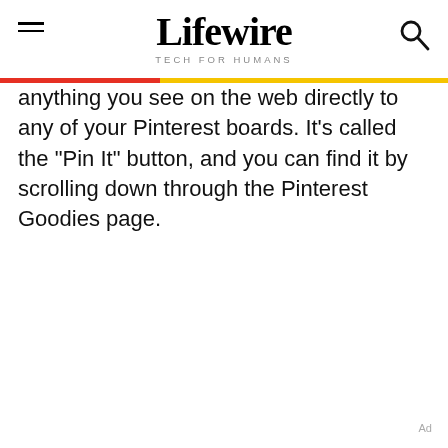Lifewire — TECH FOR HUMANS
anything you see on the web directly to any of your Pinterest boards. It's called the "Pin It" button, and you can find it by scrolling down through the Pinterest Goodies page.
Ad